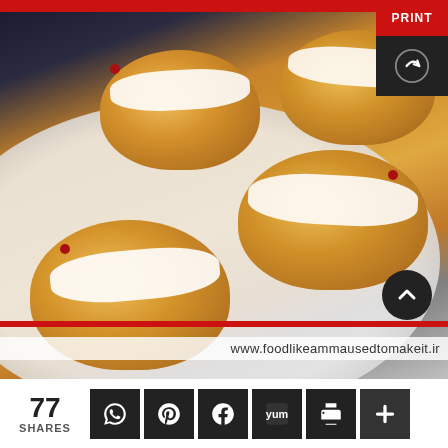[Figure (photo): Cream-filled bread buns topped with white cream and pomegranate seeds on a white plate, viewed from above. Buns are golden-brown. Website watermark visible: www.foodlikeammausedtomakeit.ir]
www.foodlikeammausedtomakeit.ir
77 SHARES
PRINT